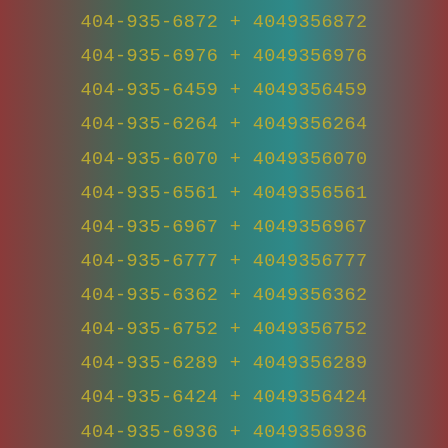404-935-6872 + 4049356872
404-935-6976 + 4049356976
404-935-6459 + 4049356459
404-935-6264 + 4049356264
404-935-6070 + 4049356070
404-935-6561 + 4049356561
404-935-6967 + 4049356967
404-935-6777 + 4049356777
404-935-6362 + 4049356362
404-935-6752 + 4049356752
404-935-6289 + 4049356289
404-935-6424 + 4049356424
404-935-6936 + 4049356936
404-935-6977 + 4049356977
404-935-6773 + 4049356773
404-935-6770 + 4049356770
404-935-6075 + 4049356075
404-935-6557 + 4049356557
404-935-6846 + 4049356846
404-935-6273 + 4049356273
404-935-6968 + 4049356968
404-935-6118 + 4049356118
404-935-6565 + 4049356565